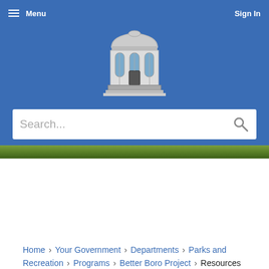Menu | Sign In
[Figure (logo): Government building / rotunda logo in black and white on blue background]
Search...
[Figure (photo): Green trees/park photo strip]
Home › Your Government › Departments › Parks and Recreation › Programs › Better Boro Project › Resources to Improve Your Health